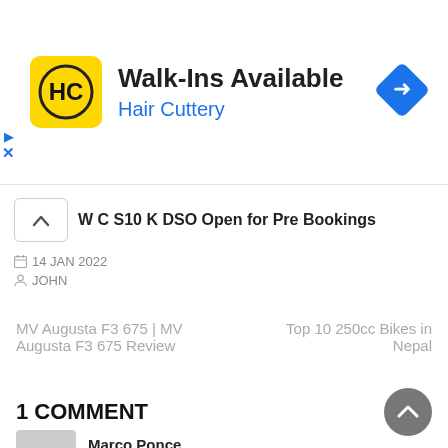[Figure (screenshot): Hair Cuttery advertisement banner with yellow HC logo, title 'Walk-Ins Available', subtitle 'Hair Cuttery', and a blue diamond direction arrow icon on the right.]
W C S10 K DSO Open for Pre Bookings
14 JAN 2022
JOHN
MV Augusta F3 675 | MV Augusta F3 675 Review
Top 10 250cc Bikes in Nepal
1 COMMENT
Marco Ponce